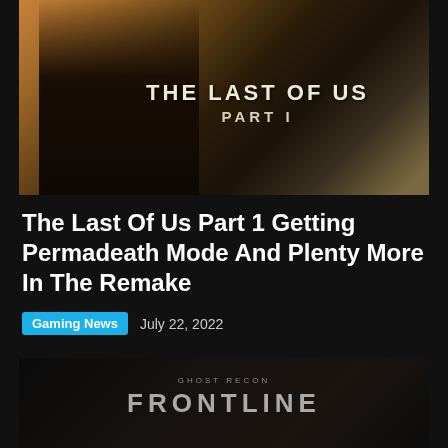[Figure (photo): The Last of Us Part I promotional image showing a female character in silhouette against a warm orange/amber post-apocalyptic background with ruins, with the game title 'THE LAST OF US PART I' displayed in the center-right]
The Last Of Us Part 1 Getting Permadeath Mode And Plenty More In The Remake
Gaming News  July 22, 2022
[Figure (photo): Tom Clancy's Ghost Recon Frontline promotional image showing a dark, moody scene with a figure and the game title 'GHOST RECON FRONTLINE' displayed prominently]